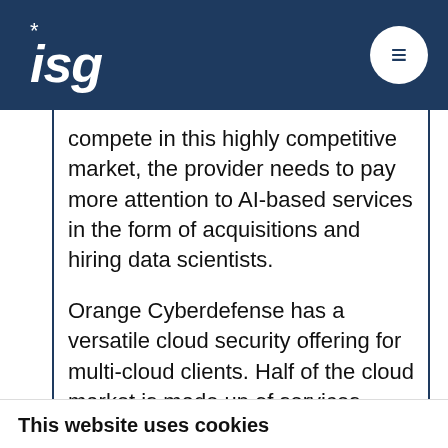ISG
compete in this highly competitive market, the provider needs to pay more attention to AI-based services in the form of acquisitions and hiring data scientists.
Orange Cyberdefense has a versatile cloud security offering for multi-cloud clients. Half of the cloud market is made up of services offerings. To leverage this, the provider has been investing significantly in
This website uses cookies
We use cookies to give you the best online experience. Please let us know if you agree to the use of these cookies.